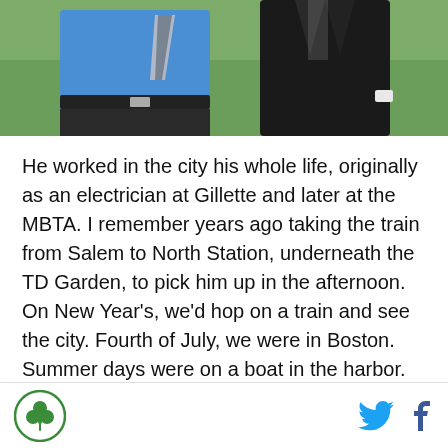[Figure (photo): Two people standing outdoors on grass, one wearing a blue shirt and plaid tie, the other in a dark suit jacket]
He worked in the city his whole life, originally as an electrician at Gillette and later at the MBTA. I remember years ago taking the train from Salem to North Station, underneath the TD Garden, to pick him up in the afternoon. On New Year's, we'd hop on a train and see the city. Fourth of July, we were in Boston. Summer days were on a boat in the harbor. My greatest memories were in Boston, all in the vicinity of
[Figure (logo): Green circular logo with a shamrock/clover design]
[Figure (other): Twitter bird icon and Facebook f icon for social sharing]